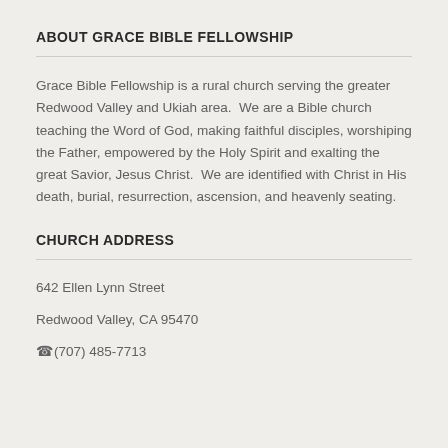ABOUT GRACE BIBLE FELLOWSHIP
Grace Bible Fellowship is a rural church serving the greater Redwood Valley and Ukiah area.  We are a Bible church teaching the Word of God, making faithful disciples, worshiping the Father, empowered by the Holy Spirit and exalting the great Savior, Jesus Christ.  We are identified with Christ in His death, burial, resurrection, ascension, and heavenly seating.
CHURCH ADDRESS
642 Ellen Lynn Street
Redwood Valley, CA 95470
(707) 485-7713